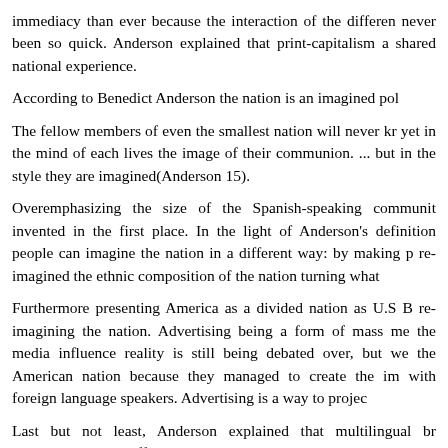immediacy than ever because the interaction of the different never been so quick. Anderson explained that print-capitalism a shared national experience.
According to Benedict Anderson the nation is an imagined pol
The fellow members of even the smallest nation will never kr yet in the mind of each lives the image of their communion. ... but in the style they are imagined(Anderson 15).
Overemphasizing the size of the Spanish-speaking communit invented in the first place. In the light of Anderson's definition people can imagine the nation in a different way: by making p re-imagined the ethnic composition of the nation turning what
Furthermore presenting America as a divided nation as U.S B re-imagining the nation. Advertising being a form of mass me the media influence reality is still being debated over, but we the American nation because they managed to create the im with foreign language speakers. Advertising is a way to projec
Last but not least, Anderson explained that multilingual br populations with different mother tongues... nations can now b it seems that multilingual publications facilitate the incorpora media it seems that nowadays, the nation does not neces